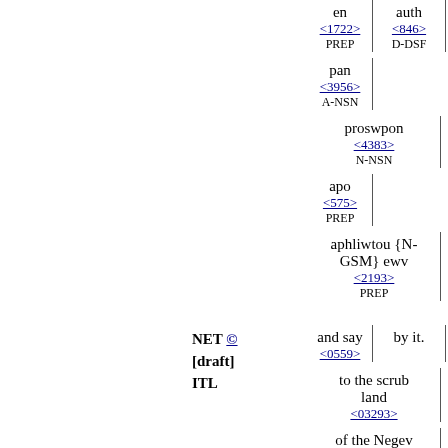| en | auth |
| --- | --- |
| <1722> | <846> |
| PREP | D-DSF |
| pan |  |
| <3956> |  |
| A-NSN |  |
| proswpon |  |
| <4383> |  |
| N-NSN |  |
| apo |  |
| <575> |  |
| PREP |  |
| aphliwtou {N-GSM} ewv |  |
| <2193> |  |
| PREP |  |
| and say | by it. |
| <0559> |  |
| to the scrub land |  |
| <03293> |  |
| of the Negev |  |
| <05045> |  |
NET © [draft] ITL